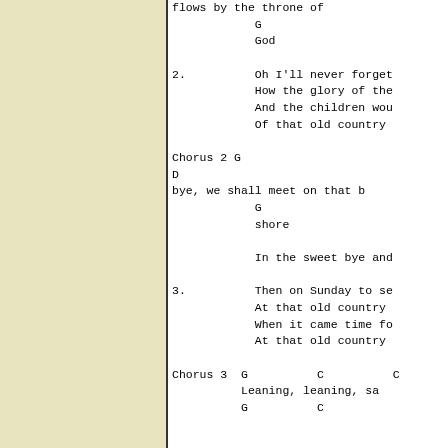flows by the throne of
            G
            God

2.          Oh I'll never forget
            How the glory of the
            And the children wou
            Of that old country

Chorus 2 G
D
bye, we shall meet on that b
            G
            shore

            In the sweet bye and

3.          Then on Sunday to se
            At that old country
            When it came time fo
            At that old country

Chorus 3  G          C          C
          Leaning, leaning, sa
          G          C